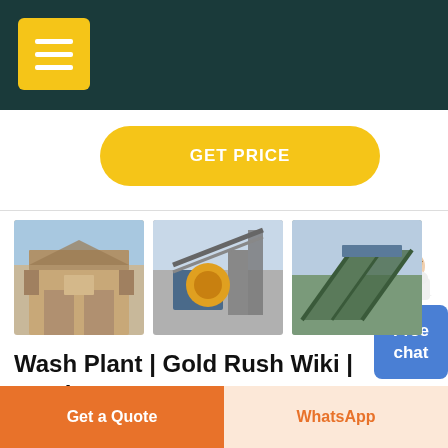GET PRICE
[Figure (photo): Three photos of mining/wash plant industrial equipment and structures]
Wash Plant | Gold Rush Wiki | Fandom
Get a Quote
WhatsApp